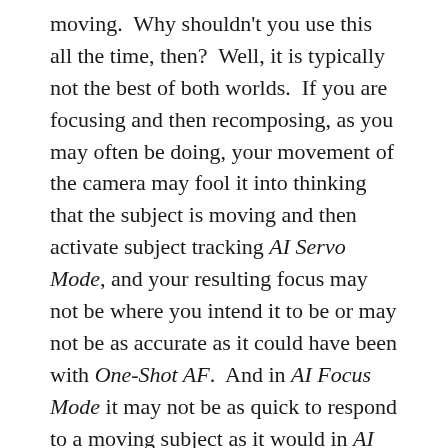moving.  Why shouldn't you use this all the time, then?  Well, it is typically not the best of both worlds.  If you are focusing and then recomposing, as you may often be doing, your movement of the camera may fool it into thinking that the subject is moving and then activate subject tracking AI Servo Mode, and your resulting focus may not be where you intend it to be or may not be as accurate as it could have been with One-Shot AF.  And in AI Focus Mode it may not be as quick to respond to a moving subject as it would in AI Servo Mode.  Typically you know if your subject is still or moving so it is better to select one of the other two AF Modes.  Plus that way you always know which AF Mode you are working in and can